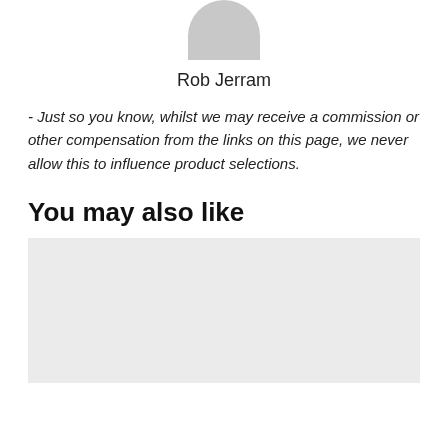[Figure (illustration): Partial grey avatar/profile circle, cropped at top of page]
Rob Jerram
- Just so you know, whilst we may receive a commission or other compensation from the links on this page, we never allow this to influence product selections.
You may also like
[Figure (other): Grey placeholder rectangle for content]